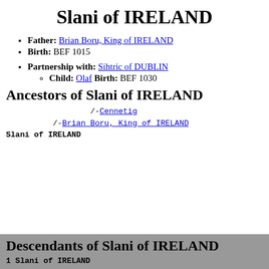Slani of IRELAND
Father: Brian Boru, King of IRELAND
Birth: BEF 1015
Partnership with: Sihtric of DUBLIN
Child: Olaf Birth: BEF 1030
Ancestors of Slani of IRELAND
/-Cennetig
/-Brian Boru, King of IRELAND
Slani of IRELAND
Descendants of Slani of IRELAND
1 Slani of IRELAND